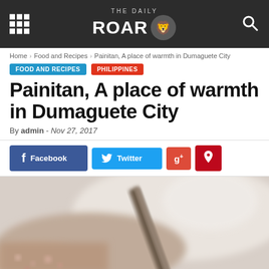THE DAILY ROAR
Home > Food and Recipes > Painitan, A place of warmth in Dumaguete City
FOOD AND RECIPES  PHILIPPINES
Painitan, A place of warmth in Dumaguete City
By admin - Nov 27, 2017
Facebook  Twitter  g+  p
[Figure (photo): Close-up blurred photo of food items, appears to show a knife or utensil over chopped ingredients, warm toned macro photography]